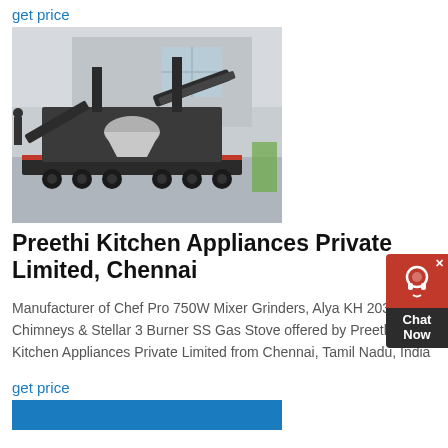get price
[Figure (photo): Industrial mobile cone crusher/screening plant on a multi-axle wheeled chassis, photographed inside a warehouse. Machine is dark grey/black with red accents, featuring a cone crusher unit and conveyor belt.]
Preethi Kitchen Appliances Private Limited, Chennai
Manufacturer of Chef Pro 750W Mixer Grinders, Alya KH 203 Chimneys & Stellar 3 Burner SS Gas Stove offered by Preethi Kitchen Appliances Private Limited from Chennai, Tamil Nadu, India
get price
[Figure (photo): Partial view of a product image with blue background at the bottom of the page.]